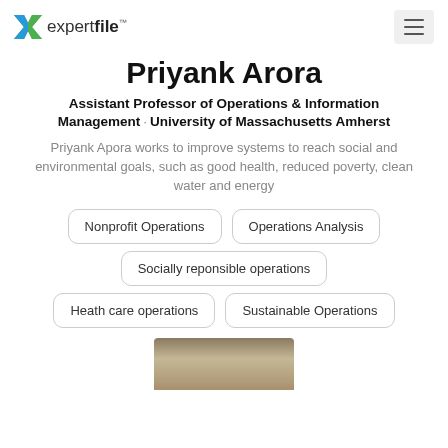expertfile
Priyank Arora
Assistant Professor of Operations & Information Management · University of Massachusetts Amherst
Priyank Apora works to improve systems to reach social and environmental goals, such as good health, reduced poverty, clean water and energy
Nonprofit Operations
Operations Analysis
Socially reponsible operations
Heath care operations
Sustainable Operations
[Figure (photo): Partial photo of Priyank Arora at bottom of page]